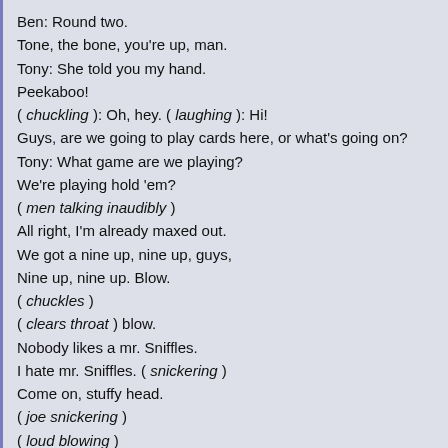Ben: Round two.
Tone, the bone, you're up, man.
Tony: She told you my hand.
Peekaboo!
( chuckling ): Oh, hey. ( laughing ): Hi!
Guys, are we going to play cards here, or what's going on?
Tony: What game are we playing?
We're playing hold 'em?
( men talking inaudibly )
All right, I'm already maxed out.
We got a nine up, nine up, guys,
Nine up, nine up. Blow.
( chuckles )
( clears throat ) blow.
Nobody likes a mr. Sniffles.
I hate mr. Sniffles. ( snickering )
Come on, stuffy head.
( joe snickering )
( loud blowing )
Good, good, good.
Ooh, white.